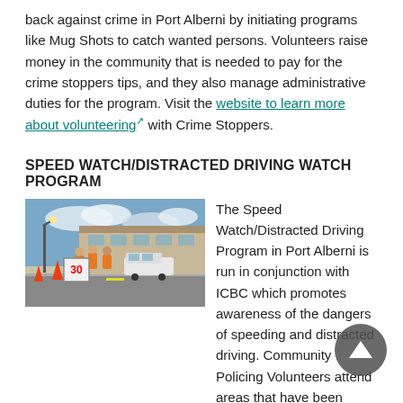back against crime in Port Alberni by initiating programs like Mug Shots to catch wanted persons. Volunteers raise money in the community that is needed to pay for the crime stoppers tips, and they also manage administrative duties for the program. Visit the website to learn more about volunteering with Crime Stoppers.
SPEED WATCH/DISTRACTED DRIVING WATCH PROGRAM
[Figure (photo): Volunteers in orange safety vests standing by a road near a speed display board showing 30, with a police vehicle in the background.]
The Speed Watch/Distracted Driving Program in Port Alberni is run in conjunction with ICBC which promotes awareness of the dangers of speeding and distracted driving. Community Policing Volunteers attend areas that have been identified as common speeding zones and set up radar boards that detect the speed of passing motorists. The vehicles that are determined to be traveling significantly above the posted speed limit are recorded and letters of caution are sent to the registered owners advising them of the incident